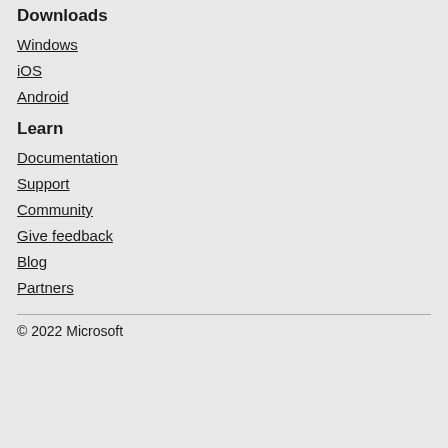Downloads
Windows
iOS
Android
Learn
Documentation
Support
Community
Give feedback
Blog
Partners
© 2022 Microsoft